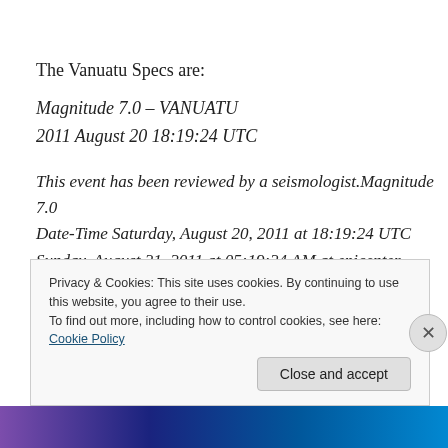The Vanuatu Specs are:
Magnitude 7.0 – VANUATU
2011 August 20 18:19:24 UTC
This event has been reviewed by a seismologist.Magnitude 7.0
Date-Time Saturday, August 20, 2011 at 18:19:24 UTC
Sunday, August 21, 2011 at 05:19:24 AM at epicenter
Time of Earthquake in other Time Zones
Privacy & Cookies: This site uses cookies. By continuing to use this website, you agree to their use.
To find out more, including how to control cookies, see here: Cookie Policy
Close and accept